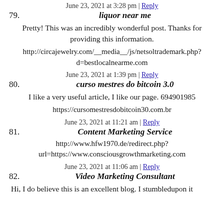June 23, 2021 at 3:28 pm | Reply
79. liquor near me
Pretty! This was an incredibly wonderful post. Thanks for providing this information.
http://circajewelry.com/__media__/js/netsoltrademark.php?d=bestlocalnearme.com
June 23, 2021 at 1:39 pm | Reply
80. curso mestres do bitcoin 3.0
I like a very useful article, I like our page. 694901985
https://cursomestresdobitcoin30.com.br
June 23, 2021 at 11:21 am | Reply
81. Content Marketing Service
http://www.hfw1970.de/redirect.php?url=https://www.consciousgrowthmarketing.com
June 23, 2021 at 11:06 am | Reply
82. Video Marketing Consultant
Hi, I do believe this is an excellent blog. I stumbledupon it